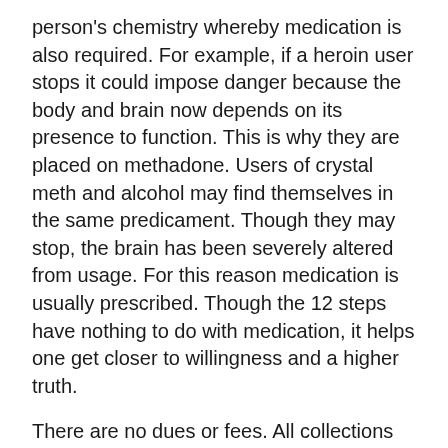person's chemistry whereby medication is also required.  For example, if a heroin user stops it could impose danger because the body and brain now depends on its presence to function.  This is why they are placed on methadone.  Users of crystal meth and alcohol may find themselves in the same predicament.  Though they may stop, the brain has been severely altered from usage. For this reason medication is usually prescribed.  Though the 12 steps have nothing to do with medication, it helps one get closer to willingness and a higher truth.
There are no dues or fees. All collections typically go to renting the meeting space and making literature available.  That is another reason why telephone psychic readings refers great sources.
Recovery is never an event.  It is a process. Milestones are celebrated. Yet recovery is